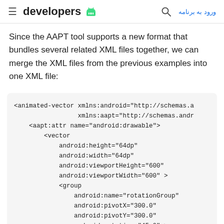developers
Since the AAPT tool supports a new format that bundles several related XML files together, we can merge the XML files from the previous examples into one XML file:
[Figure (screenshot): Code block showing XML for animated-vector with aapt:attr, vector, and group elements including android:height, android:width, android:viewportHeight, android:viewportWidth, android:name, android:pivotX, android:pivotY, android:rotation attributes, and a partial <path element]